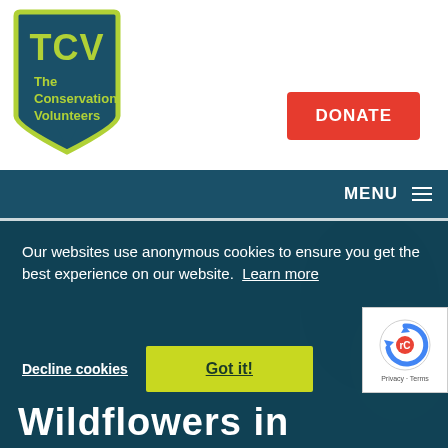[Figure (logo): TCV - The Conservation Volunteers shield-shaped logo in dark teal with yellow-green text and lime green border]
DONATE
MENU
Our websites use anonymous cookies to ensure you get the best experience on our website.  Learn more
Decline cookies
Got it!
[Figure (logo): Google reCAPTCHA logo with Privacy - Terms text]
Wildflowers in